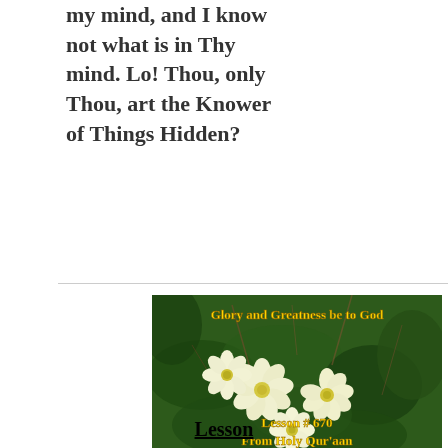my mind, and I know not what is in Thy mind. Lo! Thou, only Thou, art the Knower of Things Hidden?
[Figure (photo): Photograph of white flowers (primroses) on a green leafy background with text overlaid: 'Glory and Greatness be to God' at the top in yellow, and 'Lesson # 670 From Holy Qur'aan' at the bottom in yellow.]
Lesson